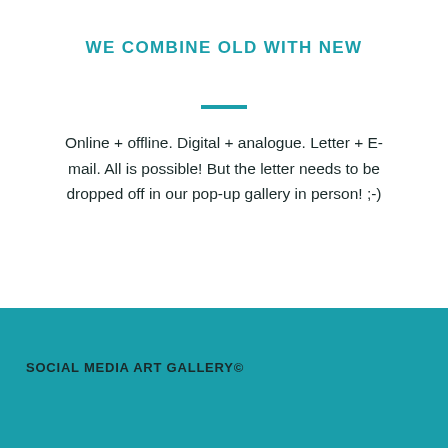WE COMBINE OLD WITH NEW
Online + offline. Digital + analogue. Letter + E-mail. All is possible! But the letter needs to be dropped off in our pop-up gallery in person! ;-)
SOCIAL MEDIA ART GALLERY©